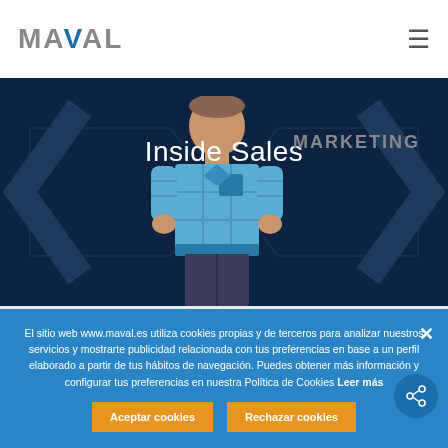[Figure (logo): MAVAL logo with blue V accent letter]
[Figure (illustration): Illustrated character wearing blue plaid shirt on dark navy background with arrow shapes and MARKETING label, titled Inside Sales]
El sitio web www.maval.es utiliza cookies propias y de terceros para analizar nuestros servicios y mostrarte publicidad relacionada con tus preferencias en base a un perfil elaborado a partir de tus hábitos de navegación. Puedes obtener más información y configurar tus preferencias en nuestra Política de Cookies Leer más
Aceptar cookies
Rechazar cookies